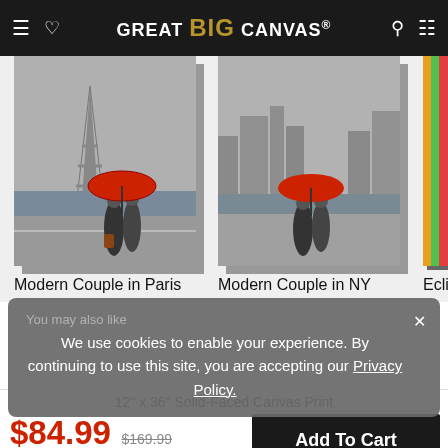GREAT BIG CANVAS
[Figure (screenshot): Product listing showing two canvas art prints: 'Modern Couple in Paris' and 'Modern Couple in NY', both featuring couples with red umbrellas in greyscale city scenes, and a partial third item 'Eclipse'. A grey cookie consent banner overlays the lower portion reading: 'You may also like / We use cookies to enable your experience. By continuing to use this site, you are accepting our Privacy Policy.']
12" x 36" Solid-Faced Canvas Print
$84.99  $169.99  50% OFF - Ends Soon!
Add To Cart